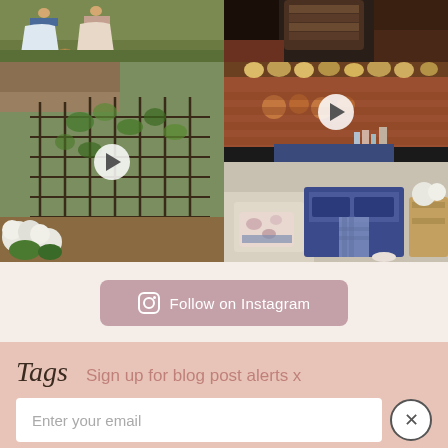[Figure (photo): 2x2 Instagram photo grid: top-left shows two women in dresses on grass, top-right shows dark interior with wicker/fabric items, bottom-left shows a garden with trellis structure and white hydrangeas (video), bottom-right shows a cottage kitchen with copper pots and blue Aga (split into smaller photos)]
Follow on Instagram
Tags
Sign up for blog post alerts x
Enter your email
Subscribe